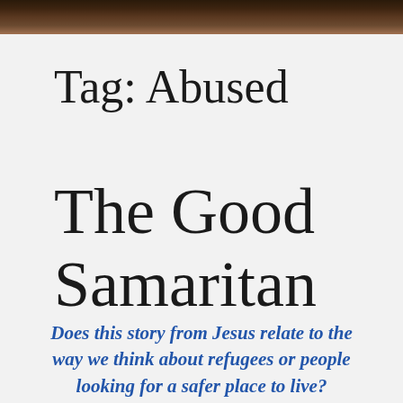[Figure (photo): Dark banner image at top of page, appearing to be a dark brown/earth-toned photograph used as a header background.]
Tag: Abused
The Good Samaritan
Does this story from Jesus relate to the way we think about refugees or people looking for a safer place to live?